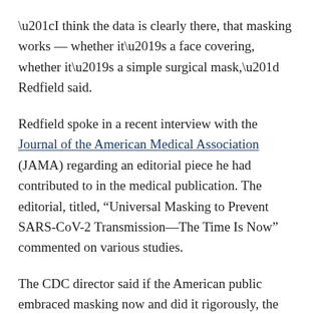“I think the data is clearly there, that masking works — whether it’s a face covering, whether it’s a simple surgical mask,” Redfield said.
Redfield spoke in a recent interview with the Journal of the American Medical Association (JAMA) regarding an editorial piece he had contributed to in the medical publication. The editorial, titled, “Universal Masking to Prevent SARS-CoV-2 Transmission—The Time Is Now” commented on various studies.
The CDC director said if the American public embraced masking now and did it rigorously, the U.S. could see relatively swift changes in the trajectory of the pandemic.
“If we could get everybody to wear a mask right now, I